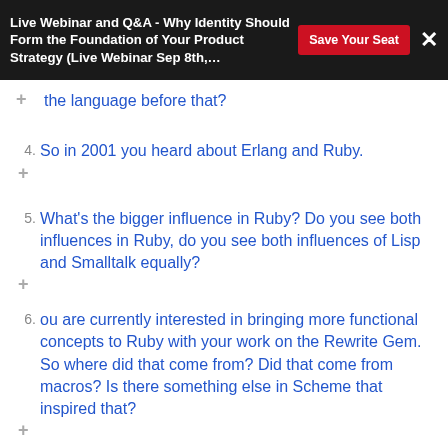Live Webinar and Q&A - Why Identity Should Form the Foundation of Your Product Strategy (Live Webinar Sep 8th,…
the language before that?
4. So in 2001 you heard about Erlang and Ruby.
5. What's the bigger influence in Ruby? Do you see both influences in Ruby, do you see both influences of Lisp and Smalltalk equally?
6. ou are currently interested in bringing more functional concepts to Ruby with your work on the Rewrite Gem. So where did that come from? Did that come from macros? Is there something else in Scheme that inspired that?
7. So what approach do you use? How do you do…